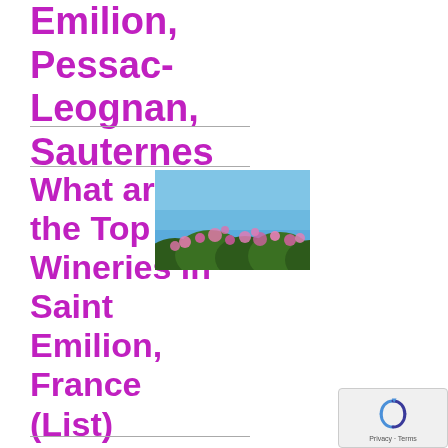Emilion, Pessac-Leognan, Sauternes
What are the Top Wineries in Saint Emilion, France (List)
[Figure (photo): Photo of pink flowering bushes against a clear blue sky]